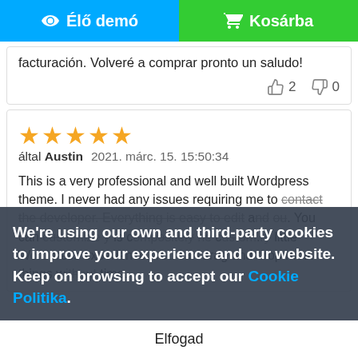[Figure (screenshot): Two buttons: blue 'Élő demó' with eye icon and green 'Kosárba' with cart icon]
facturación. Volveré a comprar pronto un saludo!
👍 2   👎 0
[Figure (other): Five gold star rating]
által Austin 2021. márc. 15. 15:50:34
This is a very professional and well built Wordpress theme. I never had any issues requiring me to contact the developer. Everything is easy to edit a... You can c... y is c... ne c.... ry little Wordpress experience. You can drag and drop most things w... time.
We're using our own and third-party cookies to improve your experience and our website. Keep on browsing to accept our Cookie Politika.
Elfogad